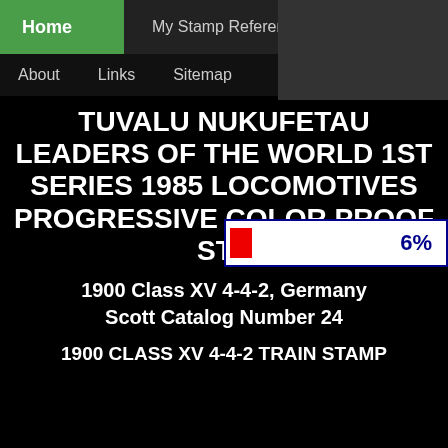Home | My Stamp Reference Files | Contact | About | Links | Sitemap
TUVALU NUKUFETAU LEADERS OF THE WORLD 1ST SERIES 1985 LOCOMOTIVES PROGRESSIVE COLOR PROOF STAMPS
[Figure (other): Progress bar showing 6% with a red indicator on white background with blue border]
1900 Class XV 4-4-2, Germany
Scott Catalog Number 24
1900 CLASS XV 4-4-2 TRAIN STAMP